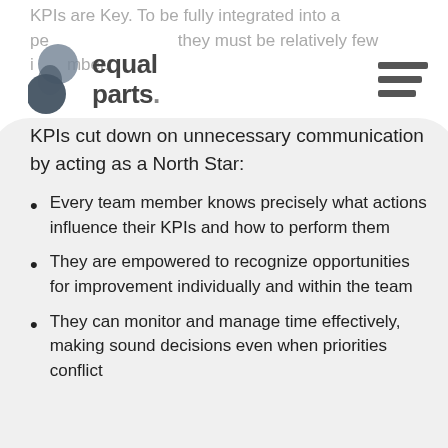KPIs are Key. To be fully integrated into a person's behaviour they must be relatively few in number.
[Figure (logo): Equal Parts logo with two overlapping dark blue/grey circles on the left and the text 'equal parts.' in bold dark grey on the right]
KPIs cut down on unnecessary communication by acting as a North Star:
Every team member knows precisely what actions influence their KPIs and how to perform them
They are empowered to recognize opportunities for improvement individually and within the team
They can monitor and manage time effectively, making sound decisions even when priorities conflict